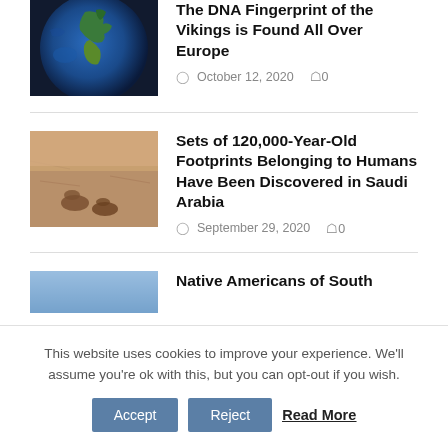[Figure (photo): Satellite image of Earth showing Europe and Africa from space]
The DNA Fingerprint of the Vikings is Found All Over Europe
October 12, 2020   0
[Figure (photo): Aerial or ground-level photo showing ancient footprints in sandy/rocky terrain in Saudi Arabia]
Sets of 120,000-Year-Old Footprints Belonging to Humans Have Been Discovered in Saudi Arabia
September 29, 2020   0
[Figure (photo): Partially visible image with blue/light gradient, thumbnail for article about Native Americans of South]
Native Americans of South
This website uses cookies to improve your experience. We'll assume you're ok with this, but you can opt-out if you wish.